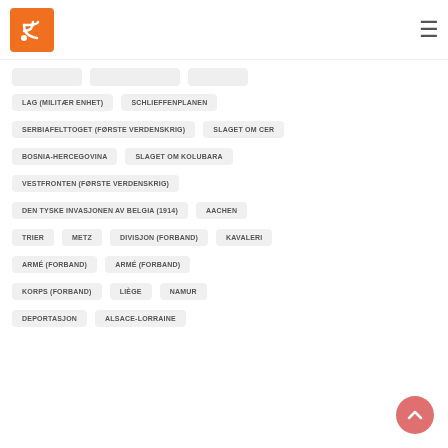RSS feed logo and hamburger menu
LAG (MILITÆR ENHET)
SCHLIEFFENPLANEN
SERBIAFELTTOGET (FØRSTE VERDENSKRIG)
SLAGET OM CER
BOSNIA-HERCEGOVINA
SLAGET OM KOLUBARA
VESTFRONTEN (FØRSTE VERDENSKRIG)
DEN TYSKE INVASJONEN AV BELGIA (1914)
AACHEN
TRIER
METZ
DIVISJON (FORBAND)
KAVALERI
ARMÉ (FORBAND)
ARMÉ (FORBAND)
KORPS (FORBAND)
LIÈGE
NAMUR
DEPORTASJON
ALSACE-LORRAINE